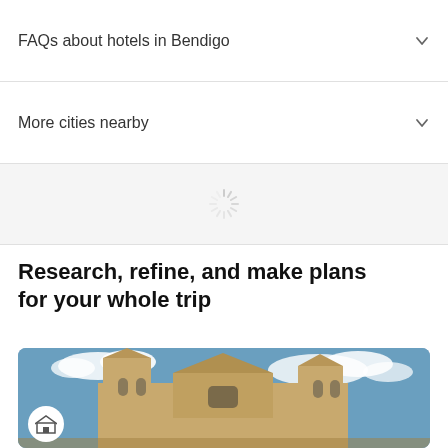FAQs about hotels in Bendigo
More cities nearby
[Figure (other): Loading spinner icon]
Research, refine, and make plans for your whole trip
[Figure (photo): Photo of a Gothic cathedral with tall spires against a blue sky with clouds, representing Bendigo travel destination]